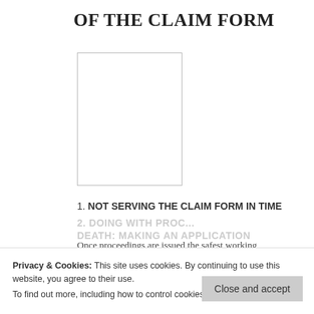OF THE CLAIM FORM
[Figure (other): A blank white rectangular image placeholder with a thin border]
1. NOT SERVING THE CLAIM FORM IN TIME
Once proceedings are issued the safest working assumption is that you have the legal equivalent of an unexploded grenade in your filing cabinet.
2. DOING WITH PROC... DEATH: MAKING AN APPLICATION
Privacy & Cookies: This site uses cookies. By continuing to use this website, you agree to their use. To find out more, including how to control cookies, see here: Cookie Policy